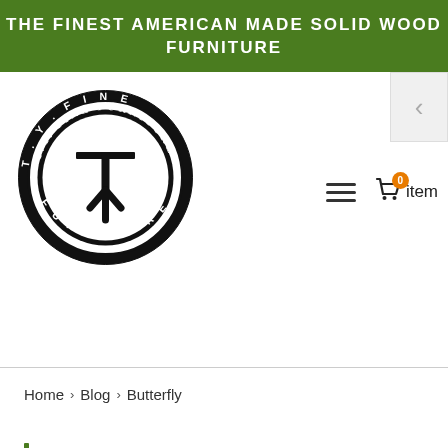THE FINEST AMERICAN MADE SOLID WOOD FURNITURE
[Figure (logo): T.Y. Fine Furniture circular logo — black circle with serif text 'T.Y. FINE FURNITURE' around the border and a stylized T-Y monogram in the center]
0 item
Home › Blog › Butterfly
Blog